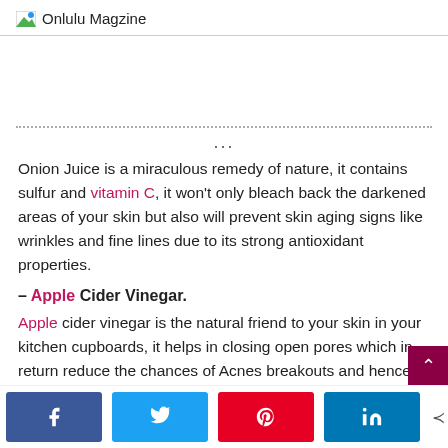Onlulu Magzine
...
Onion Juice is a miraculous remedy of nature, it contains sulfur and vitamin C, it won't only bleach back the darkened areas of your skin but also will prevent skin aging signs like wrinkles and fine lines due to its strong antioxidant properties.
– Apple Cider Vinegar.
Apple cider vinegar is the natural friend to your skin in your kitchen cupboards, it helps in closing open pores which in return reduce the chances of Acnes breakouts and hence th…